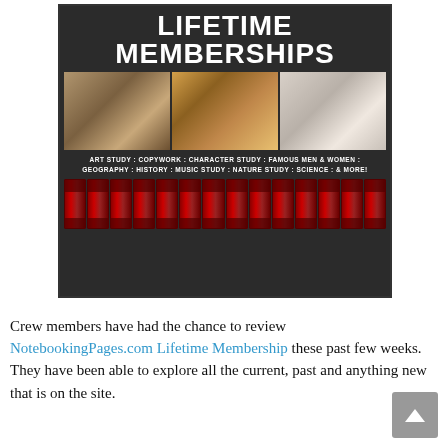[Figure (infographic): Promotional banner for NotebookingPages.com Lifetime Memberships. Dark background with large white bold text 'LIFETIME MEMBERSHIPS' at top. Below are three photos of children doing school/art activities. Below photos: subject list text 'ART STUDY : COPYWORK : CHARACTER STUDY : FAMOUS MEN & WOMEN : GEOGRAPHY : HISTORY : MUSIC STUDY : NATURE STUDY : SCIENCE : & MORE!' At bottom a row of red book spines.]
Crew members have had the chance to review NotebookingPages.com Lifetime Membership these past few weeks. They have been able to explore all the current, past and anything new that is on the site.